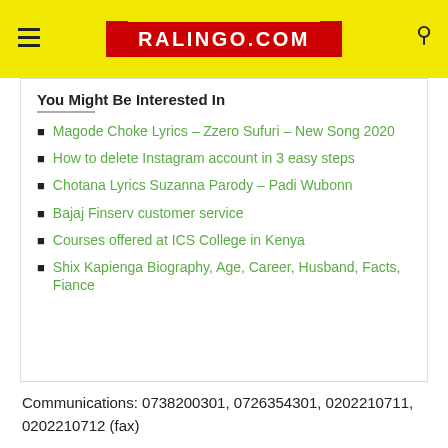RALINGO.COM
You Might Be Interested In
Magode Choke Lyrics – Zzero Sufuri – New Song 2020
How to delete Instagram account in 3 easy steps
Chotana Lyrics Suzanna Parody – Padi Wubonn
Bajaj Finserv customer service
Courses offered at ICS College in Kenya
Shix Kapienga Biography, Age, Career, Husband, Facts, Fiance
Communications: 0738200301, 0726354301, 0202210711, 0202210712 (fax)